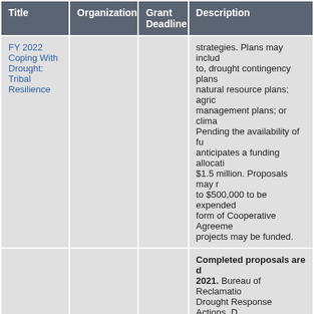| Title | Organization | Grant Deadline | Description |
| --- | --- | --- | --- |
| FY 2022 Coping With Drought: Tribal Resilience |  |  | strategies. Plans may include, but are not limited to, drought contingency plans; natural resource plans; agricultural management plans; or climate... Pending the availability of funds, NIDIS anticipates a funding allocation of up to $1.5 million. Proposals may not exceed to $500,000 to be expended over... form of Cooperative Agreements... projects may be funded. |
|  |  |  | Completed proposals are due... 2021. Bureau of Reclamation Drought Response Actions. D... September 24, 2021. Bureau... an $8 million funding opportu... Drought Response Actions. A... temporary activities that mini... damages resulting from drou... anticipate announcing projec... October 2021. Please send t... information about applying fo... interested parties. Projects t... |